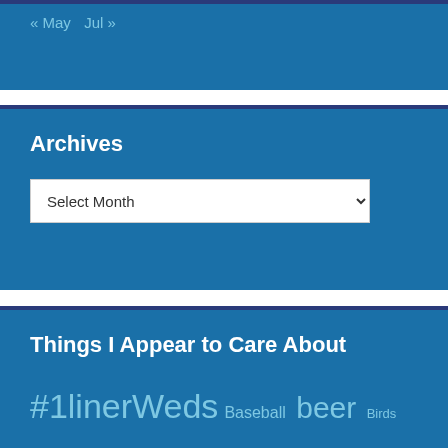« May    Jul »
Archives
Select Month
Things I Appear to Care About
#1linerWeds  Baseball  beer  Birds  blogging
Connecticut  construction  Corono Virus